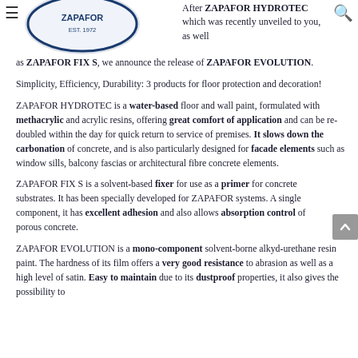[Figure (logo): Circular logo partially visible at top left, appears to be ZAPAFOR brand logo]
After ZAPAFOR HYDROTEC which was recently unveiled to you, as well as ZAPAFOR FIX S, we announce the release of ZAPAFOR EVOLUTION.
Simplicity, Efficiency, Durability: 3 products for floor protection and decoration!
ZAPAFOR HYDROTEC is a water-based floor and wall paint, formulated with methacrylic and acrylic resins, offering great comfort of application and can be re-doubled within the day for quick return to service of premises. It slows down the carbonation of concrete, and is also particularly designed for facade elements such as window sills, balcony fascias or architectural fibre concrete elements.
ZAPAFOR FIX S is a solvent-based fixer for use as a primer for concrete substrates. It has been specially developed for ZAPAFOR systems. A single component, it has excellent adhesion and also allows absorption control of porous concrete.
ZAPAFOR EVOLUTION is a mono-component solvent-borne alkyd-urethane resin paint. The hardness of its film offers a very good resistance to abrasion as well as a high level of satin. Easy to maintain due to its dustproof properties, it also gives the possibility to